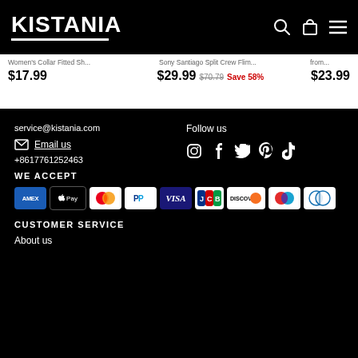KISTANIA
Women's Collar Fitted Sh... | Sony Santiago Split Crew Flim... | from...
$17.99 | $29.99 $70.79 Save 58% | $23.99
service@kistania.com
Email us
+8617761252463
Follow us
WE ACCEPT
[Figure (other): Payment method icons: Amex, Apple Pay, Mastercard, PayPal, Visa, JCB, Discover, Maestro, Diners Club]
CUSTOMER SERVICE
About us